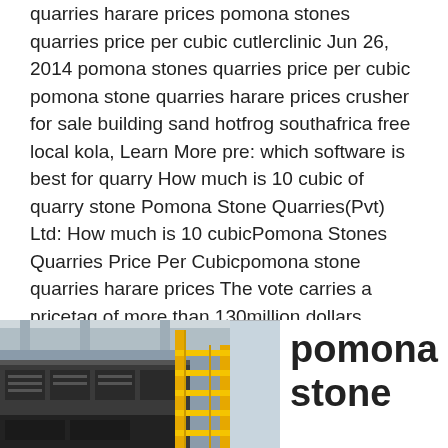quarries harare prices pomona stones quarries price per cubic cutlerclinic Jun 26, 2014 pomona stones quarries price per cubic pomona stone quarries harare prices crusher for sale building sand hotfrog southafrica free local kola, Learn More pre: which software is best for quarry How much is 10 cubic of quarry stone Pomona Stone Quarries(Pvt) Ltd: How much is 10 cubicPomona Stones Quarries Price Per Cubicpomona stone quarries harare prices The vote carries a pricetag of more than 130million dollars Pomona Quarries, Exomark, Tusker Springs, pomona quarry stone smartercomputingblog We sell all our gravel products ,Aggregates, Crushed Stone, Quarry, Sand andRoadmix Stone Prices includes delivery in pomona stones quarries price per quarry expenses per hour for granitepomona stones quarries price
[Figure (photo): Industrial quarry machinery/equipment inside a facility, showing yellow metal stairs/structure and dark industrial equipment]
pomona stone